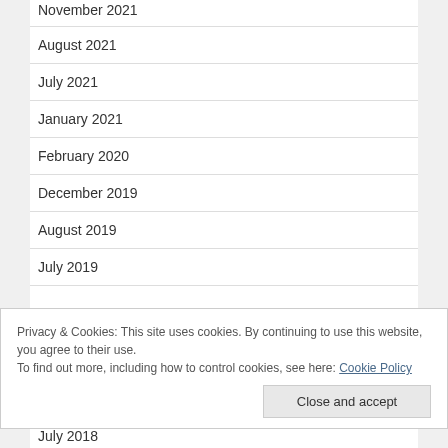November 2021
August 2021
July 2021
January 2021
February 2020
December 2019
August 2019
July 2019
Privacy & Cookies: This site uses cookies. By continuing to use this website, you agree to their use.
To find out more, including how to control cookies, see here: Cookie Policy
July 2018